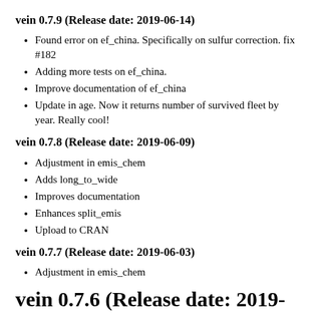vein 0.7.9 (Release date: 2019-06-14)
Found error on ef_china. Specifically on sulfur correction. fix #182
Adding more tests on ef_china.
Improve documentation of ef_china
Update in age. Now it returns number of survived fleet by year. Really cool!
vein 0.7.8 (Release date: 2019-06-09)
Adjustment in emis_chem
Adds long_to_wide
Improves documentation
Enhances split_emis
Upload to CRAN
vein 0.7.7 (Release date: 2019-06-03)
Adjustment in emis_chem
vein 0.7.6 (Release date: 2019-